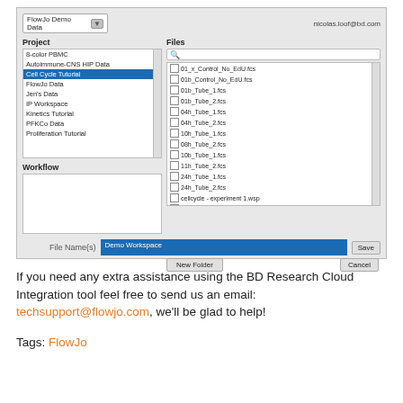[Figure (screenshot): FlowJo application dialog showing a file save dialog. Left panel shows 'Project' list with items including '8-color PBMC', 'Autoimmune-CNS HIP Data', 'Cell Cycle Tutorial' (selected/highlighted in blue), 'FlowJo Data', 'Jen's Data', 'IP Workspace', 'Kinetics Tutorial', 'PFKCo Data', 'Proliferation Tutorial'. Below project list is a 'Workflow' empty text area. Right panel shows 'Files' section with search box and a list of .fcs and .wsp files. Bottom has 'File Name(s)' field with 'Demo Workspace' selected in blue, a 'Save' button, a 'New Folder' button, and a 'Cancel' button. Top right shows email nicolas.loof@bd.com. Top left shows 'FlowJo Demo Data' dropdown.]
If you need any extra assistance using the BD Research Cloud Integration tool feel free to send us an email: techsupport@flowjo.com, we'll be glad to help!
Tags: FlowJo